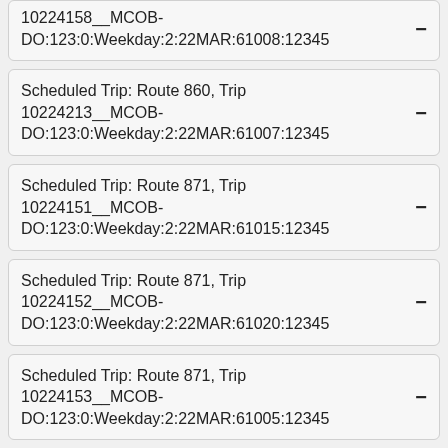10224158__MCOB-DO:123:0:Weekday:2:22MAR:61008:12345
Scheduled Trip: Route 860, Trip 10224213__MCOB-DO:123:0:Weekday:2:22MAR:61007:12345
Scheduled Trip: Route 871, Trip 10224151__MCOB-DO:123:0:Weekday:2:22MAR:61015:12345
Scheduled Trip: Route 871, Trip 10224152__MCOB-DO:123:0:Weekday:2:22MAR:61020:12345
Scheduled Trip: Route 871, Trip 10224153__MCOB-DO:123:0:Weekday:2:22MAR:61005:12345
Scheduled Trip: Route 871, Trip 10224217__MCOB-DO:123:0:Weekday:2:22MAR:61009:12345